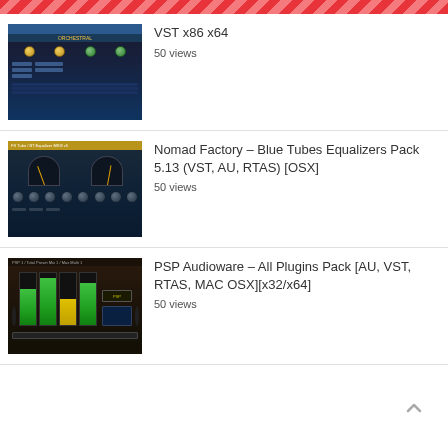[Figure (screenshot): Red diagonal striped header bar at top of page]
[Figure (screenshot): Thumbnail of a synthesizer/orchestra VST plugin with dark blue UI, gold knobs, and sliders]
VST x86 x64
50 views
[Figure (screenshot): Thumbnail of Nomad Factory Blue Tubes Equalizer plugin with dark blue UI, VU meters, and multiple knobs]
Nomad Factory – Blue Tubes Equalizers Pack 5.13 (VST, AU, RTAS) [OSX]
50 views
[Figure (screenshot): Thumbnail of PSP Audioware plugin with dark brown/black UI showing bar graph level meters in green and yellow]
PSP Audioware – All Plugins Pack [AU, VST, RTAS, MAC OSX][x32/x64]
50 views